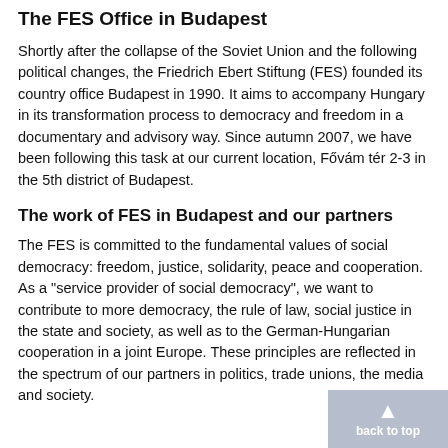The FES Office in Budapest
Shortly after the collapse of the Soviet Union and the following political changes, the Friedrich Ebert Stiftung (FES) founded its country office Budapest in 1990. It aims to accompany Hungary in its transformation process to democracy and freedom in a documentary and advisory way. Since autumn 2007, we have been following this task at our current location, Fővám tér 2-3 in the 5th district of Budapest.
The work of FES in Budapest and our partners
The FES is committed to the fundamental values of social democracy: freedom, justice, solidarity, peace and cooperation. As a "service provider of social democracy", we want to contribute to more democracy, the rule of law, social justice in the state and society, as well as to the German-Hungarian cooperation in a joint Europe. These principles are reflected in the spectrum of our partners in politics, trade unions, the media and society.